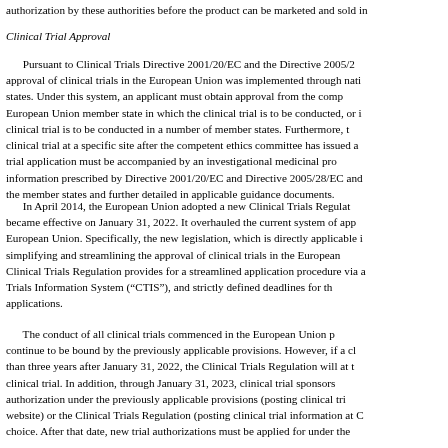authorization by these authorities before the product can be marketed and sold in
Clinical Trial Approval
Pursuant to Clinical Trials Directive 2001/20/EC and the Directive 2005/28, approval of clinical trials in the European Union was implemented through national states. Under this system, an applicant must obtain approval from the comp European Union member state in which the clinical trial is to be conducted, or in clinical trial is to be conducted in a number of member states. Furthermore, t clinical trial at a specific site after the competent ethics committee has issued a trial application must be accompanied by an investigational medicinal pro information prescribed by Directive 2001/20/EC and Directive 2005/28/EC and c the member states and further detailed in applicable guidance documents.
In April 2014, the European Union adopted a new Clinical Trials Regulat became effective on January 31, 2022. It overhauled the current system of app European Union. Specifically, the new legislation, which is directly applicable in simplifying and streamlining the approval of clinical trials in the European Clinical Trials Regulation provides for a streamlined application procedure via a Trials Information System (“CTIS”), and strictly defined deadlines for the applications.
The conduct of all clinical trials commenced in the European Union p continue to be bound by the previously applicable provisions. However, if a cl than three years after January 31, 2022, the Clinical Trials Regulation will at t clinical trial. In addition, through January 31, 2023, clinical trial sponsors authorization under the previously applicable provisions (posting clinical tria website) or the Clinical Trials Regulation (posting clinical trial information at C choice. After that date, new trial authorizations must be applied for under the